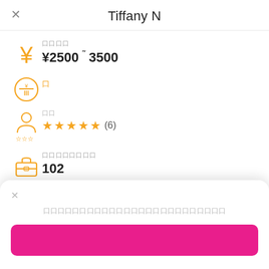Tiffany N
¥2500 ˜ 3500
[Figure (illustration): Orange yen currency symbol icon]
[Figure (illustration): Orange circular badge/medal icon with III symbol]
口口
[Figure (illustration): Orange person with star rating icon]
口口
★★★★★ (6)
[Figure (illustration): Orange briefcase icon]
口口口口口口口口
102
口口口口口口口口口口口口口口口口口口口口口口口口口
[Figure (illustration): Pink/magenta button]